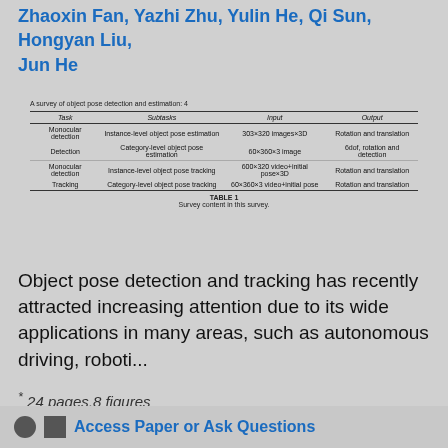Zhaoxin Fan, Yazhi Zhu, Yulin He, Qi Sun, Hongyan Liu, Jun He
| Task | Subtasks | Input | Output |
| --- | --- | --- | --- |
| Monocular detection | Instance-level object pose estimation | 303×320 images×3D | Rotation and translation |
| Detection | Category-level object pose estimation | 60×360×3 image | 6dof, rotation and detection |
| Monocular detection | Instance-level object pose tracking | 600×320 video+initial pose×3D | Rotation and translation |
| Tracking | Category-level object pose tracking | 60×360×3 video+initial pose | Rotation and translation |
Table 1
Survey content in this survey.
Object pose detection and tracking has recently attracted increasing attention due to its wide applications in many areas, such as autonomous driving, roboti...
* 24 pages,8 figures
Access Paper or Ask Questions